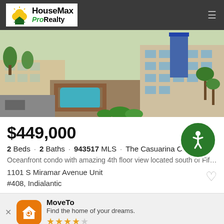[Figure (logo): HouseMax Pro Realty logo with house icon and sun]
[Figure (photo): Aerial view of oceanfront condominium complex with pool, palm trees, and parking lot]
$449,000
2 Beds · 2 Baths · 943517 MLS · The Casuarina Club
Oceanfront condo with amazing 4th floor view located south of Fifth Avenue i...
1101 S Miramar Avenue Unit #408, Indialantic
MoveTo
Find the home of your dreams.
★★★★☆
Use App